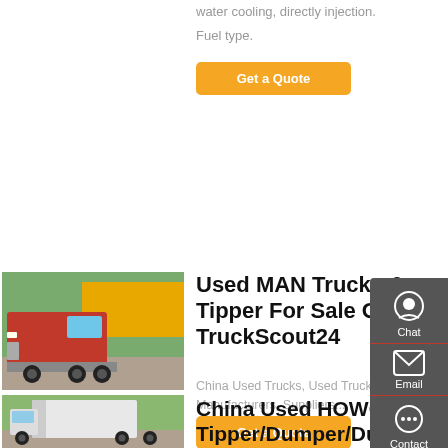water cooling, directly injection. Fuel type.
Get a Quote
[Figure (photo): Red HOWO truck, front 3/4 view, parked in a yard with Chinese banner in background]
Used MAN Trucks & Tipper For Sale On TruckScout24
China Used Trucks, Used Trucks Manufacturers, Suppliers...
Get a Quote
[Figure (photo): White HOWO tractor unit, rear 3/4 view, parked outdoors]
China Used HOWO Tipper/Dumper/Dump Truck In Low Price